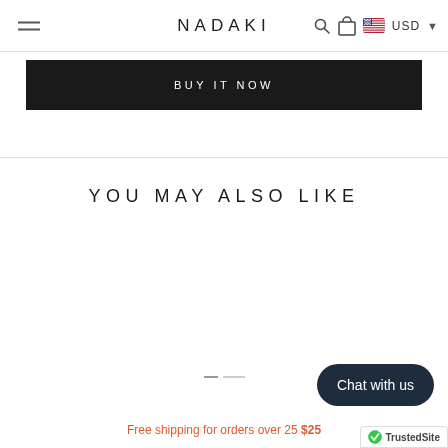NADAKI
BUY IT NOW
YOU MAY ALSO LIKE
Chat with us
Free shipping for orders over 25 $25
[Figure (logo): TrustedSite badge with checkmark logo]